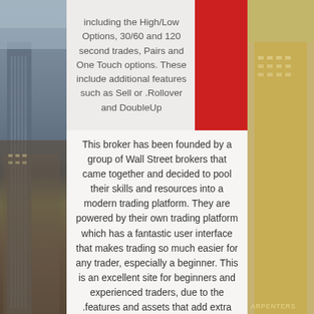[Figure (photo): City skyline background photo with tall buildings on left and right sides flanking a central content panel]
including the High/Low Options, 30/60 and 120 second trades, Pairs and One Touch options. These include additional features such as Sell or Rollover and DoubleUp.
This broker has been founded by a group of Wall Street brokers that came together and decided to pool their skills and resources into a modern trading platform. They are powered by their own trading platform which has a fantastic user interface that makes trading so much easier for any trader, especially a beginner. This is an excellent site for beginners and experienced traders, due to the features and assets that add extra value.